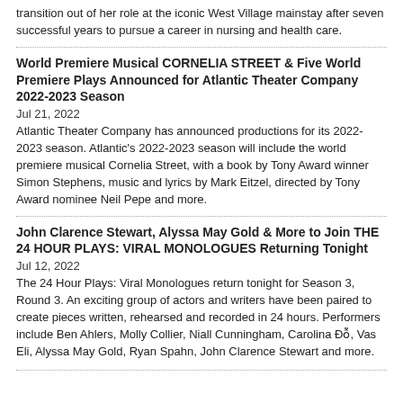transition out of her role at the iconic West Village mainstay after seven successful years to pursue a career in nursing and health care.
World Premiere Musical CORNELIA STREET & Five World Premiere Plays Announced for Atlantic Theater Company 2022-2023 Season
Jul 21, 2022
Atlantic Theater Company has announced productions for its 2022-2023 season. Atlantic's 2022-2023 season will include the world premiere musical Cornelia Street, with a book by Tony Award winner Simon Stephens, music and lyrics by Mark Eitzel, directed by Tony Award nominee Neil Pepe and more.
John Clarence Stewart, Alyssa May Gold & More to Join THE 24 HOUR PLAYS: VIRAL MONOLOGUES Returning Tonight
Jul 12, 2022
The 24 Hour Plays: Viral Monologues return tonight for Season 3, Round 3. An exciting group of actors and writers have been paired to create pieces written, rehearsed and recorded in 24 hours. Performers include Ben Ahlers, Molly Collier, Niall Cunningham, Carolina Đỗ, Vas Eli, Alyssa May Gold, Ryan Spahn, John Clarence Stewart and more.